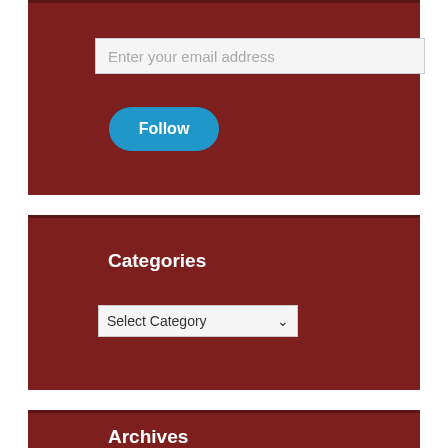Enter your email address
Follow
Categories
Select Category
Archives